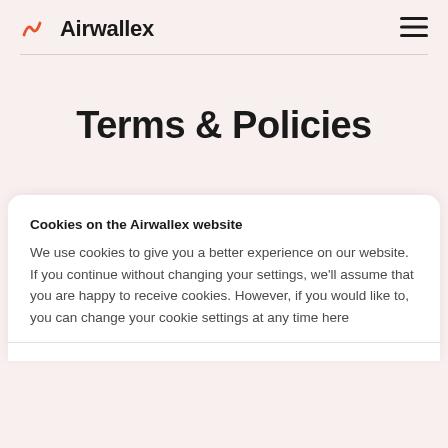Airwallex
Terms & Policies
Cookies on the Airwallex website
We use cookies to give you a better experience on our website. If you continue without changing your settings, we'll assume that you are happy to receive cookies. However, if you would like to, you can change your cookie settings at any time here